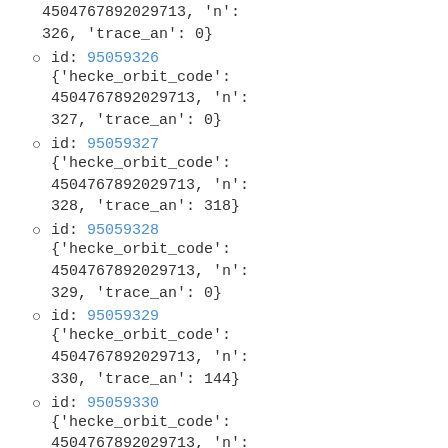4504767892029713, 'n': 326, 'trace_an': 0}
id: 95059326 {'hecke_orbit_code': 4504767892029713, 'n': 327, 'trace_an': 0}
id: 95059327 {'hecke_orbit_code': 4504767892029713, 'n': 328, 'trace_an': 318}
id: 95059328 {'hecke_orbit_code': 4504767892029713, 'n': 329, 'trace_an': 0}
id: 95059329 {'hecke_orbit_code': 4504767892029713, 'n': 330, 'trace_an': 144}
id: 95059330 {'hecke_orbit_code': 4504767892029713, 'n':